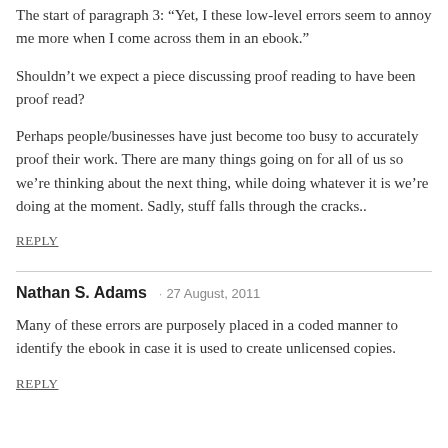The start of paragraph 3: “Yet, I these low-level errors seem to annoy me more when I come across them in an ebook.”
Shouldn’t we expect a piece discussing proof reading to have been proof read?
Perhaps people/businesses have just become too busy to accurately proof their work. There are many things going on for all of us so we’re thinking about the next thing, while doing whatever it is we’re doing at the moment. Sadly, stuff falls through the cracks..
REPLY
Nathan S. Adams · 27 August, 2011
Many of these errors are purposely placed in a coded manner to identify the ebook in case it is used to create unlicensed copies.
REPLY